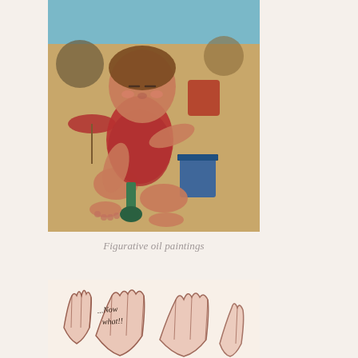[Figure (illustration): Figurative oil painting of a young child sitting on a sandy beach wearing a red swimsuit, holding a green spade/shovel. In the background are beach umbrellas, other children, and a blue bucket on the sand.]
Figurative oil paintings
[Figure (illustration): A loose sketch/drawing in brown ink showing close-up hands with text reading '...Now what!!' written in the image.]